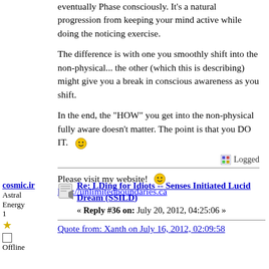eventually Phase consciously. It's a natural progression from keeping your mind active while doing the noticing exercise.
The difference is with one you smoothly shift into the non-physical... the other (which this is describing) might give you a break in conscious awareness as you shift.
In the end, the "HOW" you get into the non-physical fully aware doesn't matter. The point is that you DO IT. 🙂
Logged
Please visit my website! 🙂
http://unlimitedboundaries.ca
cosmic.ir
Astral Energy 1
Offline
Re: LDing for Idiots -- Senses Initiated Lucid Dream (SSILD)
« Reply #36 on: July 20, 2012, 04:25:06 »
Quote from: Xanth on July 16, 2012, 02:09:58